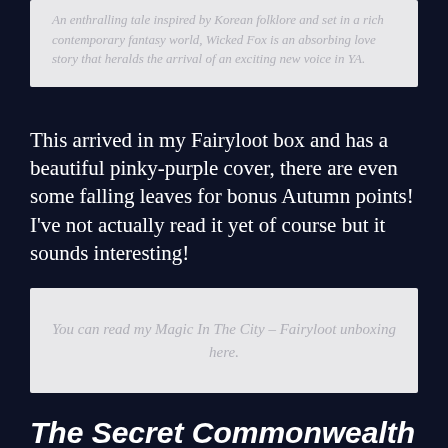An enthralling tale inspired by Korean folklore and set in a rich contemporary fantasy world, Wicked Fox is an absorbing love story that heralds the arrival of an exciting new voice in YA.
This arrived in my Fairyloot box and has a beautiful pinky-purple cover, there are even some falling leaves for bonus Autumn points! I've not actually read it yet of course but it sounds interesting!
You can read my Magic In The City – Fairyloot unboxing here.
The Secret Commonwealth by Philip Pullman